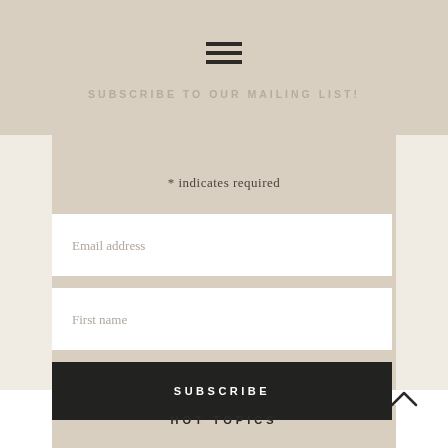[Figure (other): Hamburger menu icon with three horizontal lines]
SUBSCRIBE TO OUR MAILING LIST!
* indicates required
Email address
First name
SUBSCRIBE
[Figure (other): Chevron/caret up arrow icon]
HOT TOPICS